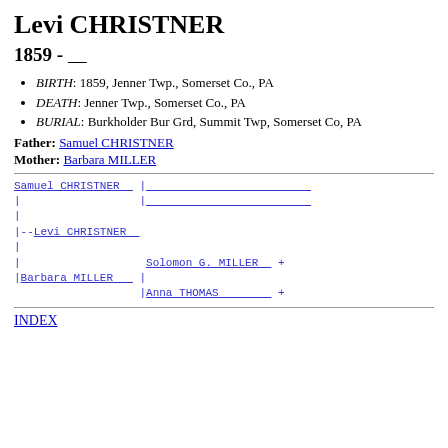Levi CHRISTNER
1859 - ____
BIRTH: 1859, Jenner Twp., Somerset Co., PA
DEATH: Jenner Twp., Somerset Co., PA
BURIAL: Burkholder Bur Grd, Summit Twp, Somerset Co, PA
Father: Samuel CHRISTNER
Mother: Barbara MILLER
[Figure (other): Genealogy pedigree tree showing Samuel CHRISTNER and Barbara MILLER as parents of Levi CHRISTNER, with Solomon G. MILLER + and Anna THOMAS + as Barbara MILLER's parents]
INDEX